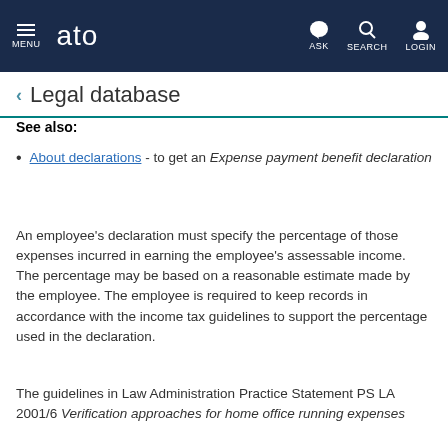ATO - MENU | ASK | SEARCH | LOGIN
Legal database
See also:
About declarations - to get an Expense payment benefit declaration
An employee's declaration must specify the percentage of those expenses incurred in earning the employee's assessable income. The percentage may be based on a reasonable estimate made by the employee. The employee is required to keep records in accordance with the income tax guidelines to support the percentage used in the declaration.
The guidelines in Law Administration Practice Statement PS LA 2001/6 Verification approaches for home office running expenses